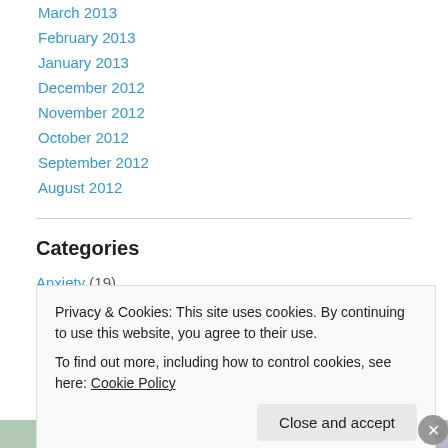March 2013
February 2013
January 2013
December 2012
November 2012
October 2012
September 2012
August 2012
Categories
Anxiety (19)
Privacy & Cookies: This site uses cookies. By continuing to use this website, you agree to their use.
To find out more, including how to control cookies, see here: Cookie Policy
Close and accept